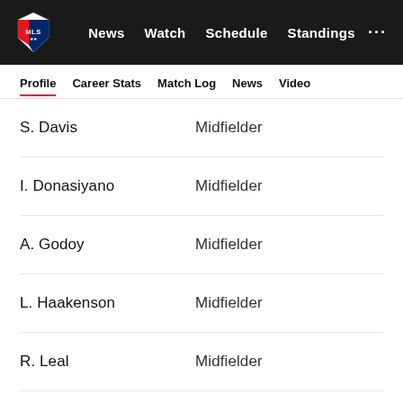MLS — News | Watch | Schedule | Standings | ...
Profile | Career Stats | Match Log | News | Video
S. Davis — Midfielder
I. Donasiyano — Midfielder
A. Godoy — Midfielder
L. Haakenson — Midfielder
R. Leal — Midfielder
A. Loba — Forward